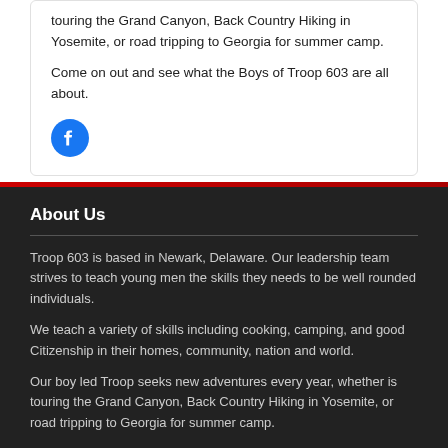touring the Grand Canyon, Back Country Hiking in Yosemite, or road tripping to Georgia for summer camp.
Come on out and see what the Boys of Troop 603 are all about.
[Figure (logo): Facebook circular icon — blue circle with white 'f' letter]
About Us
Troop 603 is based in Newark, Delaware. Our leadership team strives to teach young men the skills they needs to be well rounded individuals.
We teach a variety of skills including cooking, camping, and good Citizenship in their homes, community, nation and world.
Our boy led Troop seeks new adventures every year, whether is touring the Grand Canyon, Back Country Hiking in Yosemite, or road tripping to Georgia for summer camp.